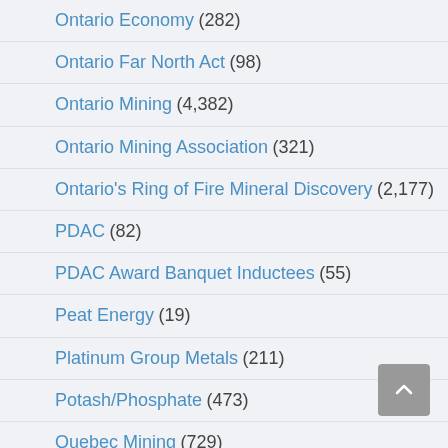Ontario Economy (282)
Ontario Far North Act (98)
Ontario Mining (4,382)
Ontario Mining Association (321)
Ontario's Ring of Fire Mineral Discovery (2,177)
PDAC (82)
PDAC Award Banquet Inductees (55)
Peat Energy (19)
Platinum Group Metals (211)
Potash/Phosphate (473)
Quebec Mining (729)
Red Lake (90)